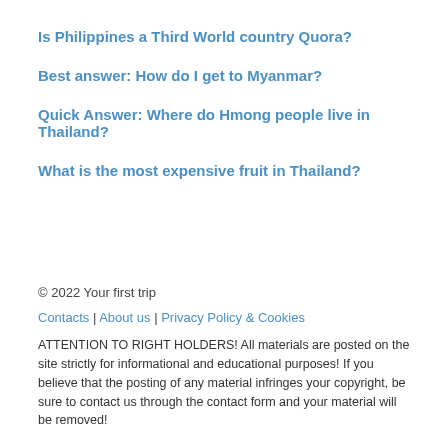Is Philippines a Third World country Quora?
Best answer: How do I get to Myanmar?
Quick Answer: Where do Hmong people live in Thailand?
What is the most expensive fruit in Thailand?
© 2022 Your first trip
Contacts | About us | Privacy Policy & Cookies
ATTENTION TO RIGHT HOLDERS! All materials are posted on the site strictly for informational and educational purposes! If you believe that the posting of any material infringes your copyright, be sure to contact us through the contact form and your material will be removed!